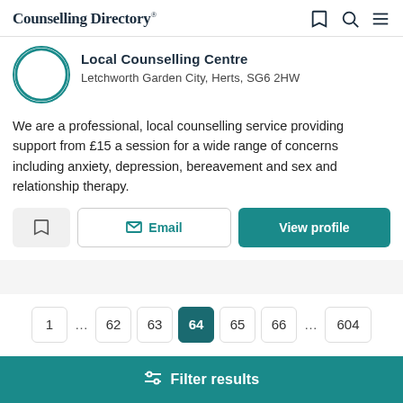Counselling Directory
Local Counselling Centre
Letchworth Garden City, Herts, SG6 2HW
We are a professional, local counselling service providing support from £15 a session for a wide range of concerns including anxiety, depression, bereavement and sex and relationship therapy.
Bookmark | Email | View profile
1
...
62
63
64 (current)
65
66
...
604
Filter results